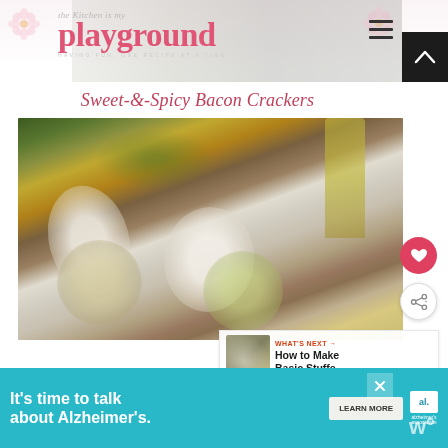the kitchen is my playground
Sweet-&-Spicy Bacon Crackers
[Figure (photo): Close-up photo of Sweet-&-Spicy Bacon Crackers - rolled crackers with filling on a wooden board with herbs and oil in the background]
WHAT'S NEXT → How to Make Basic Stuffe...
It's time to talk about Alzheimer's. LEARN MORE